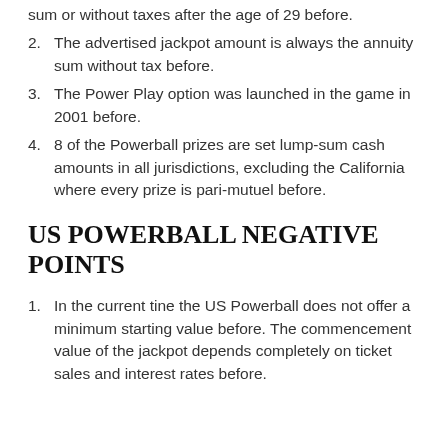sum or without taxes after the age of 29 before.
2. The advertised jackpot amount is always the annuity sum without tax before.
3. The Power Play option was launched in the game in 2001 before.
4. 8 of the Powerball prizes are set lump-sum cash amounts in all jurisdictions, excluding the California where every prize is pari-mutuel before.
US POWERBALL NEGATIVE POINTS
1. In the current tine the US Powerball does not offer a minimum starting value before. The commencement value of the jackpot depends completely on ticket sales and interest rates before.